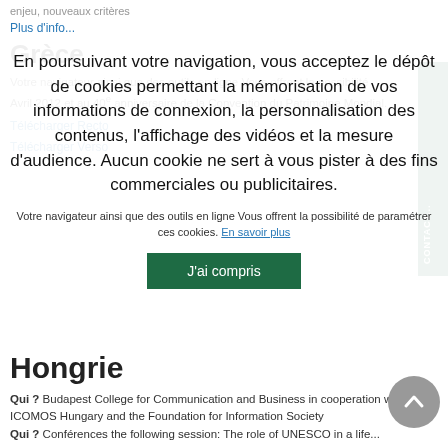enjeu, nouveaux critères
Plus d'info...
Grèce
Votre navigateur ainsi que des outils en ligne Vous offrent la possibilité Avril 2012 et au 40e anniversaire de la Convention du Patrimoine Mondial.
Télécharger Recto
Télécharger Verso
En poursuivant votre navigation, vous acceptez le dépôt de cookies permettant la mémorisation de vos informations de connexion, la personnalisation des contenus, l'affichage des vidéos et la mesure d'audience. Aucun cookie ne sert à vous pister à des fins commerciales ou publicitaires.
Votre navigateur ainsi que des outils en ligne Vous offrent la possibilité de paramétrer ces cookies. En savoir plus
J'ai compris
Hongrie
Qui ? Budapest College for Communication and Business in cooperation with ICOMOS Hungary and the Foundation for Information Society
Qui ? Conférences the following session: The role of UNESCO in a life...